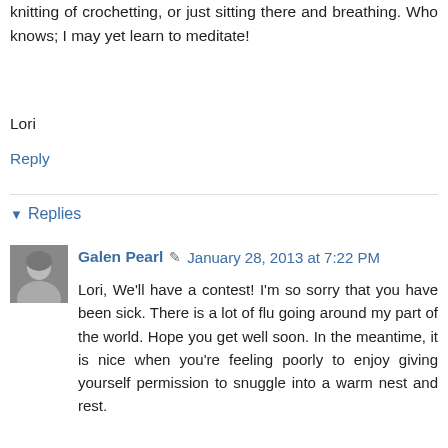knitting of crochetting, or just sitting there and breathing. Who knows; I may yet learn to meditate!
Lori
Reply
Replies
Galen Pearl  January 28, 2013 at 7:22 PM
Lori, We'll have a contest! I'm so sorry that you have been sick. There is a lot of flu going around my part of the world. Hope you get well soon. In the meantime, it is nice when you're feeling poorly to enjoy giving yourself permission to snuggle into a warm nest and rest.
Reply
Vishnu  January 29, 2013 at 6:53 AM
Hi Galen, Like Suzanne mentioned, my quite time is when